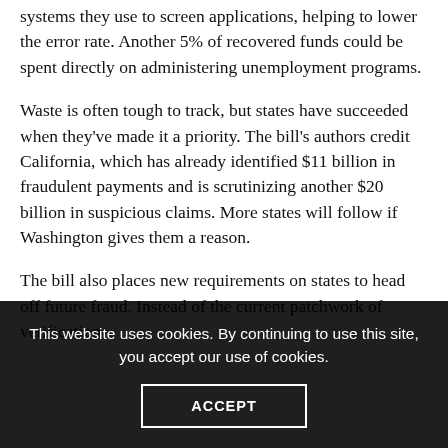systems they use to screen applications, helping to lower the error rate. Another 5% of recovered funds could be spent directly on administering unemployment programs.
Waste is often tough to track, but states have succeeded when they've made it a priority. The bill's authors credit California, which has already identified $11 billion in fraudulent payments and is scrutinizing another $20 billion in suspicious claims. More states will follow if Washington gives them a reason.
The bill also places new requirements on states to head off future fraud. Instead of the current patchwork of verification systems, states would have a standard framework...
This website uses cookies. By continuing to use this site, you accept our use of cookies.